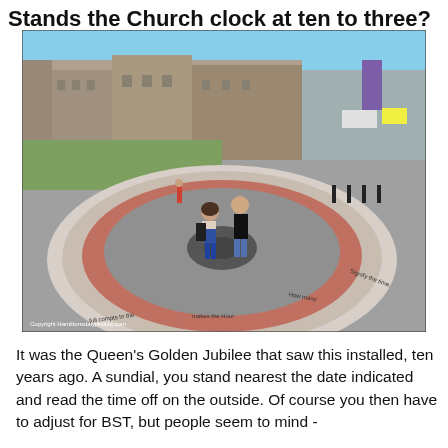Stands the Church clock at ten to three?
[Figure (photo): Two people standing on a large circular sundial inlaid in a stone plaza, with Westminster/Parliament buildings visible in the background. The sundial has concentric rings with text around the outer ring. A copyright watermark reads 'Copyright Hamiltonsdalyphotos.com'.]
It was the Queen's Golden Jubilee that saw this installed, ten years ago. A sundial, you stand nearest the date indicated and read the time off on the outside. Of course you then have to adjust for BST, but people seem to mind -